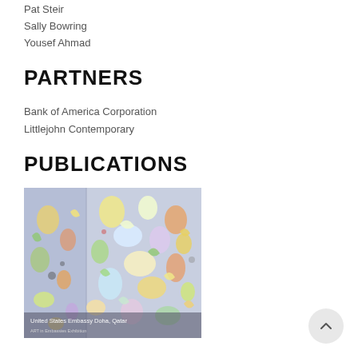Pat Steir
Sally Bowring
Yousef Ahmad
PARTNERS
Bank of America Corporation
Littlejohn Contemporary
PUBLICATIONS
[Figure (photo): Book cover showing colorful abstract painting with floral/botanical shapes in pastel colors (blue, yellow, orange, green, pink) on a light background. Text at bottom reads 'United States Embassy Doha, Qatar' with additional text below.]